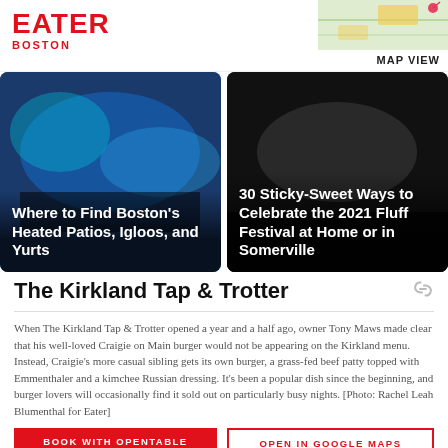EATER BOSTON
[Figure (map): Map thumbnail with MAP VIEW label]
[Figure (photo): Dark blue bar photo with text overlay: Where to Find Boston's Heated Patios, Igloos, and Yurts]
[Figure (photo): Dark photo with text overlay: 30 Sticky-Sweet Ways to Celebrate the 2021 Fluff Festival at Home or in Somerville]
The Kirkland Tap & Trotter
When The Kirkland Tap & Trotter opened a year and a half ago, owner Tony Maws made clear that his well-loved Craigie on Main burger would not be appearing on the Kirkland menu. Instead, Craigie's more casual sibling gets its own burger, a grass-fed beef patty topped with Emmenthaler and a kimchee Russian dressing. It's been a popular dish since the beginning, and burger lovers will occasionally find it sold out on particularly busy nights. [Photo: Rachel Leah Blumenthal for Eater]
BOOK WITH OPENTABLE
OPEN IN GOOGLE MAPS